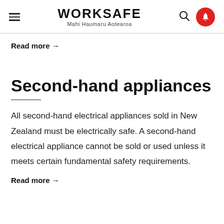WORKSAFE Mahi Haumaru Aotearoa
Read more →
Second-hand appliances
All second-hand electrical appliances sold in New Zealand must be electrically safe. A second-hand electrical appliance cannot be sold or used unless it meets certain fundamental safety requirements.
Read more →